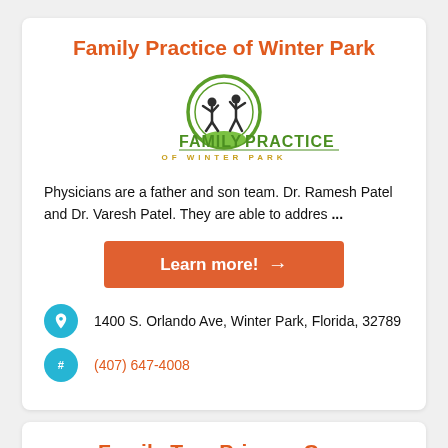Family Practice of Winter Park
[Figure (logo): Family Practice of Winter Park logo: two figures with arms raised inside a green circle, with text 'FAMILY PRACTICE OF WINTER PARK']
Physicians are a father and son team. Dr. Ramesh Patel and Dr. Varesh Patel. They are able to addres ...
Learn more! →
1400 S. Orlando Ave, Winter Park, Florida, 32789
(407) 647-4008
Family Tree Primary Care
[Figure (logo): Family Tree Primary Care logo (partially visible, circular design with tree/leaves motif)]